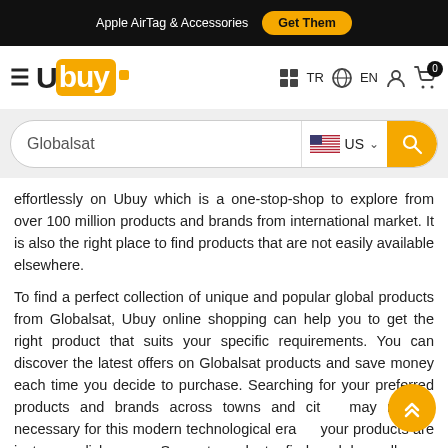Apple AirTag & Accessories  Get Them
[Figure (logo): Ubuy logo with hamburger menu, TR/EN language selectors, account icon, and cart with 0 badge]
[Figure (screenshot): Search bar with text 'Globalsat', US flag selector, and yellow search button]
effortlessly on Ubuy which is a one-stop-shop to explore from over 100 million products and brands from international market. It is also the right place to find products that are not easily available elsewhere.
To find a perfect collection of unique and popular global products from Globalsat, Ubuy online shopping can help you to get the right product that suits your specific requirements. You can discover the latest offers on Globalsat products and save money each time you decide to purchase. Searching for your preferred products and brands across towns and cities may not be necessary for this modern technological era as your products are just one click away. So, get ready to find and buy all your desirable products from your best-loved brands on Ubuy.